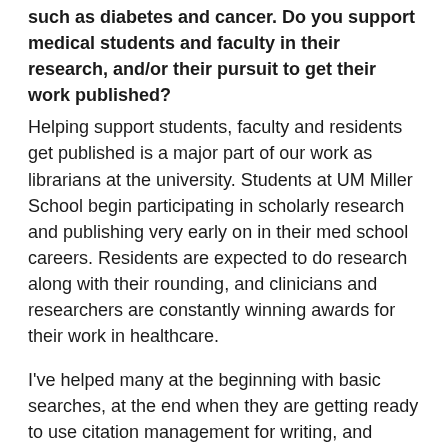such as diabetes and cancer. Do you support medical students and faculty in their research, and/or their pursuit to get their work published?
Helping support students, faculty and residents get published is a major part of our work as librarians at the university. Students at UM Miller School begin participating in scholarly research and publishing very early on in their med school careers. Residents are expected to do research along with their rounding, and clinicians and researchers are constantly winning awards for their work in healthcare.
I've helped many at the beginning with basic searches, at the end when they are getting ready to use citation management for writing, and anywhere in between. This past year I got my first acknowledgement for assisting an anesthesiology fellow with publishing a paper on his research comparing electrical neuromodulation techniques for focal neuropathic pain. Last fall, I helped four nurses in the MSN program with their research. The